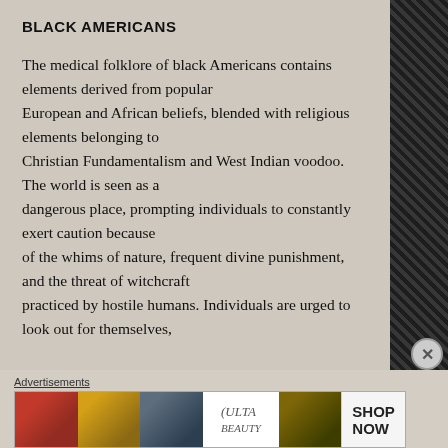BLACK AMERICANS
The medical folklore of black Americans contains elements derived from popular European and African beliefs, blended with religious elements belonging to Christian Fundamentalism and West Indian voodoo. The world is seen as a dangerous place, prompting individuals to constantly exert caution because of the whims of nature, frequent divine punishment, and the threat of witchcraft practiced by hostile humans. Individuals are urged to look out for themselves,
Advertisements
[Figure (photo): Advertisement banner for ULTA beauty products showing makeup-related images including lips, brush, eye, ULTA logo, eyes, and SHOP NOW text]